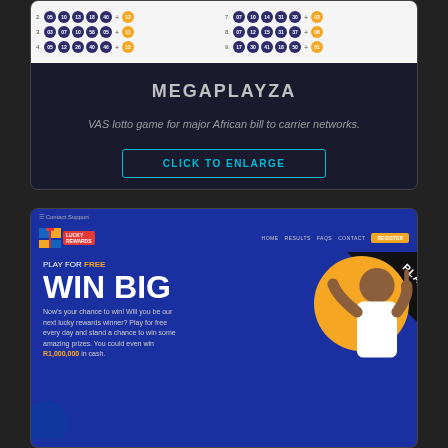[Figure (screenshot): Lottery ticket preview showing rows of purple numbered balls and gold bonus balls]
MEGAPLAYZA
VAS lotto game for major African bill to carrier networks.
CLICK TO ENLARGE
[Figure (screenshot): Lucky Rewards website screenshot showing 'WIN BIG' hero section with a man celebrating and text 'PLAY FOR FREE', 'Now's your chance to win! Will you be our next lucky rewards winner? Play for free every day and stand a chance to win some amazing prizes. You could even win R1,000,000 in cash.']